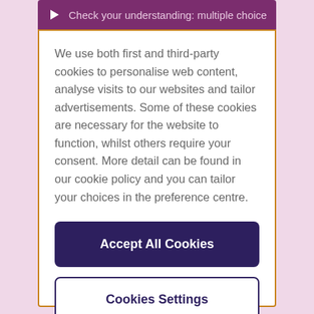Check your understanding: multiple choice
We use both first and third-party cookies to personalise web content, analyse visits to our websites and tailor advertisements. Some of these cookies are necessary for the website to function, whilst others require your consent. More detail can be found in our cookie policy and you can tailor your choices in the preference centre.
Accept All Cookies
Cookies Settings